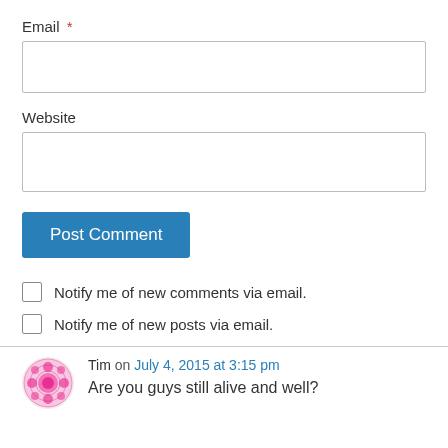Email *
[Figure (other): Email text input field (empty)]
Website
[Figure (other): Website text input field (empty)]
Post Comment
Notify me of new comments via email.
Notify me of new posts via email.
Tim on July 4, 2015 at 3:15 pm
Are you guys still alive and well?